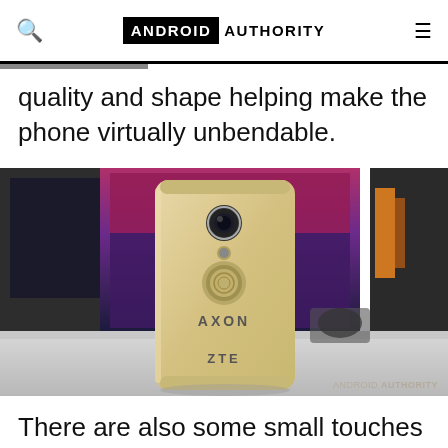ANDROID AUTHORITY
quality and shape helping make the phone virtually unbendable.
[Figure (photo): Back of a gold ZTE Axon smartphone showing camera lens, fingerprint sensor, and ZTE logo, placed on a desk with a blurred monitor and colorful background.]
There are also some small touches here and there